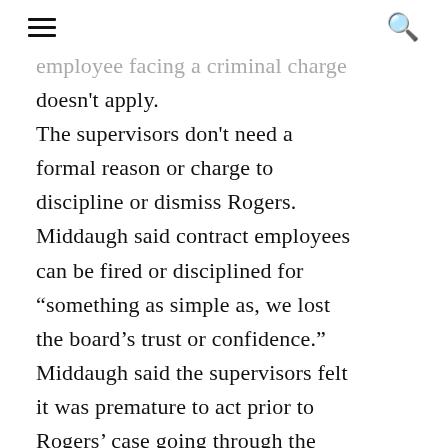≡  🔍
employee facing a criminal charge doesn't apply. The supervisors don't need a formal reason or charge to discipline or dismiss Rogers. Middaugh said contract employees can be fired or disciplined for “something as simple as, we lost the board’s trust or confidence.” Middaugh said the supervisors felt it was premature to act prior to Rogers’ case going through the